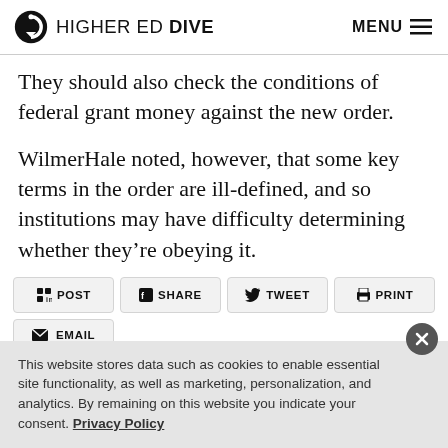HIGHER ED DIVE  MENU
They should also check the conditions of federal grant money against the new order.
WilmerHale noted, however, that some key terms in the order are ill-defined, and so institutions may have difficulty determining whether they’re obeying it.
POST  SHARE  TWEET  PRINT
EMAIL
This website stores data such as cookies to enable essential site functionality, as well as marketing, personalization, and analytics. By remaining on this website you indicate your consent. Privacy Policy